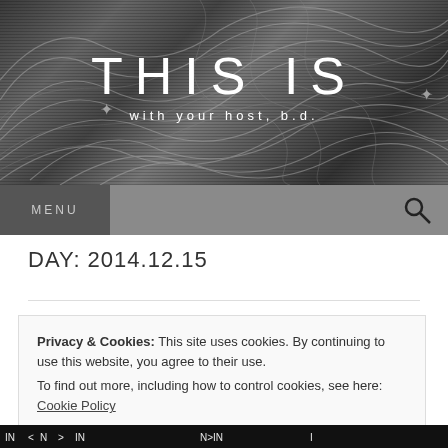[Figure (illustration): Dark gray banner header with abstract swirling line art overlay and horizontal scan-line texture]
THIS IS
with your host, b.d.
MENU
DAY: 2014.12.15
Privacy & Cookies: This site uses cookies. By continuing to use this website, you agree to their use.
To find out more, including how to control cookies, see here: Cookie Policy
Close and accept
[Figure (illustration): Black and white graphic strip at bottom of page with text/symbols]